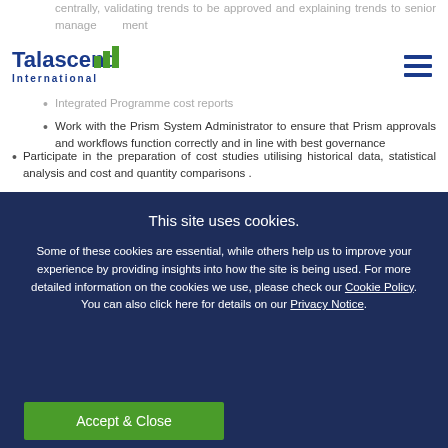centrally, validating trends to be approved and explaining trends to senior management
Talascend International
Integrated Programme cost reports
Work with the Prism System Administrator to ensure that Prism approvals and workflows function correctly and in line with best governance
Participate in the preparation of cost studies utilising historical data, statistical analysis and cost and quantity comparisons .
Skills & Experience Required:
This site uses cookies.
Some of these cookies are essential, while others help us to improve your experience by providing insights into how the site is being used. For more detailed information on the cookies we use, please check our Cookie Policy. You can also click here for details on our Privacy Notice.
Accept & Close